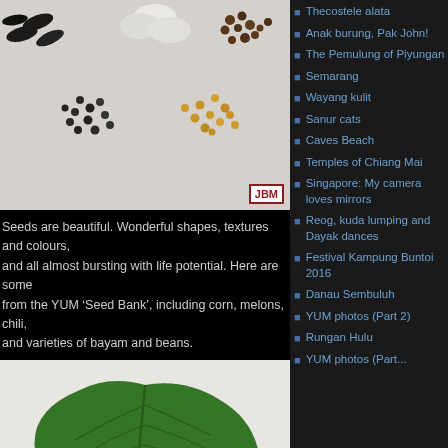[Figure (photo): Various seeds on white background including black seeds, white beans, brown/dark small seeds, and golden/amber seeds]
[Figure (photo): A single green leaf (bayam/spinach type) on a white background]
Seeds are beautiful. Wonderful shapes, textures and colours, and all almost bursting with life potential. Here are some from the YUM ‘Seed Bank’, including corn, melons, chili, and varieties of bayam and beans.
Thecostele alata
Anak burung, Pak John!
The Pemulung of Piyungan
Semarang
Wayang kulit
Sanur cats
Caves Beach
Temples of Chiang Mai
Singapore: My camera loves mirrors
Reog, kuda lumping and Dayak dances
Festival Kampung Buntoi 2016
Danau Sembuluh
YUM photos (Part 2)
Rungan Hulu
YUM photos (Part...